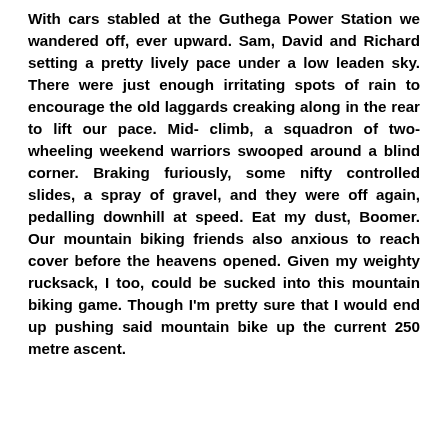With cars stabled at the Guthega Power Station we wandered off, ever upward. Sam, David and Richard setting a pretty lively pace under a low leaden sky. There were just enough irritating spots of rain to encourage the old laggards creaking along in the rear to lift our pace. Mid- climb, a squadron of two-wheeling weekend warriors swooped around a blind corner. Braking furiously, some nifty controlled slides, a spray of gravel, and they were off again, pedalling downhill at speed. Eat my dust, Boomer. Our mountain biking friends also anxious to reach cover before the heavens opened. Given my weighty rucksack, I too, could be sucked into this mountain biking game. Though I'm pretty sure that I would end up pushing said mountain bike up the current 250 metre ascent.